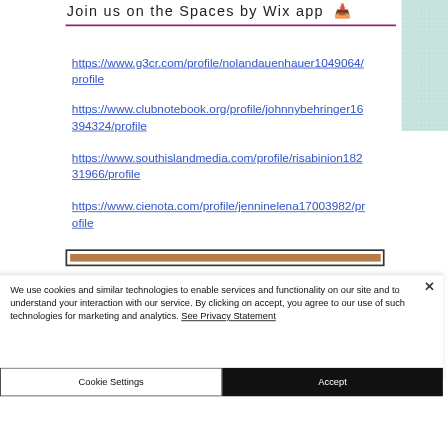Join us on the Spaces by Wix app
https://www.g3cr.com/profile/nolandauenhauer1049064/profile
https://www.clubnotebook.org/profile/johnnybehringer16394324/profile
https://www.southislandmedia.com/profile/risabinion18231966/profile
https://www.cienota.com/profile/jenninelena17003982/profile
We use cookies and similar technologies to enable services and functionality on our site and to understand your interaction with our service. By clicking on accept, you agree to our use of such technologies for marketing and analytics. See Privacy Statement
Cookie Settings
Accept